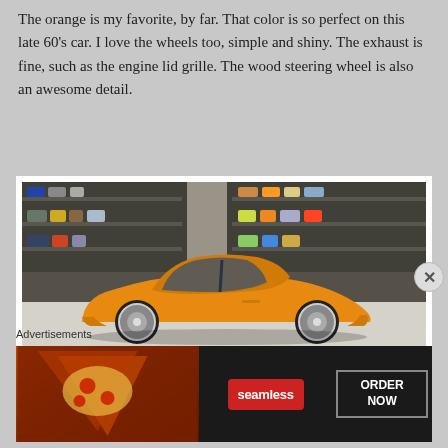The orange is my favorite, by far. That color is so perfect on this late 60's car. I love the wheels too, simple and shiny. The exhaust is fine, such as the engine lid grille. The wood steering wheel is also an awesome detail.
[Figure (photo): A model orange Porsche 911 (late 1960s) photographed from the side, displayed on a white surface with blurred shelves of model cars in the background.]
Advertisements
[Figure (photo): Seamless food delivery advertisement banner showing pizza slices on the left, Seamless logo in red center, and ORDER NOW text in a white-bordered box on the right, on a dark background.]